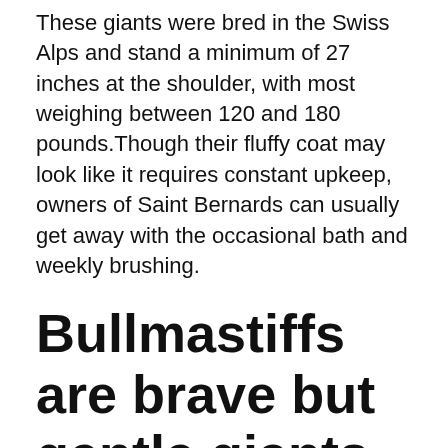These giants were bred in the Swiss Alps and stand a minimum of 27 inches at the shoulder, with most weighing between 120 and 180 pounds.Though their fluffy coat may look like it requires constant upkeep, owners of Saint Bernards can usually get away with the occasional bath and weekly brushing.
Bullmastiffs are brave but gentle giants.
According to the AKC, the Bullmastiff is the result of crosses between Bulldogs and Mastiffs. They stand around 27 inches at the shoulder and usually weigh between 100 and 130 pounds. Training and socialization as a puppy are very important, as this lovable